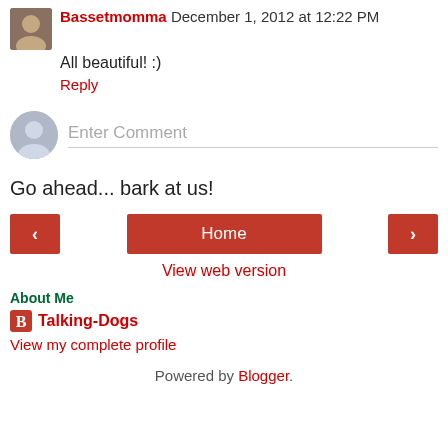Bassetmomma December 1, 2012 at 12:22 PM
All beautiful! :)
Reply
Enter Comment
Go ahead... bark at us!
Home
View web version
About Me
Talking-Dogs
View my complete profile
Powered by Blogger.